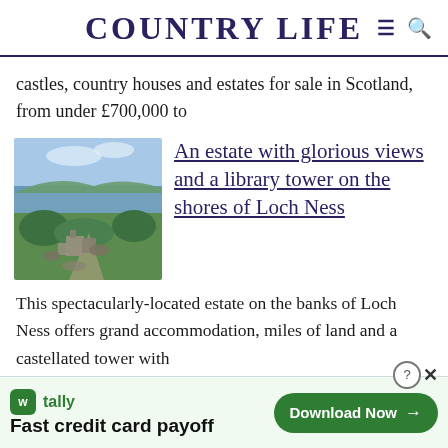COUNTRY LIFE
castles, country houses and estates for sale in Scotland, from under £700,000 to
[Figure (photo): Aerial view of a Scottish estate with ruins in foreground and Loch Ness in the background, surrounded by green landscape]
An estate with glorious views and a library tower on the shores of Loch Ness
This spectacularly-located estate on the banks of Loch Ness offers grand accommodation, miles of land and a castellated tower with
[Figure (other): Tally advertisement banner: Fast credit card payoff - Download Now button]